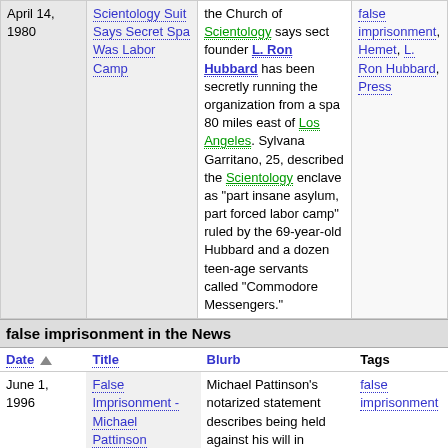| Date | Title | Blurb | Tags |
| --- | --- | --- | --- |
| April 14, 1980 | Scientology Suit Says Secret Spa Was Labor Camp | the Church of Scientology says sect founder L. Ron Hubbard has been secretly running the organization from a spa 80 miles east of Los Angeles. Sylvana Garritano, 25, described the Scientology enclave as "part insane asylum, part forced labor camp" ruled by the 69-year-old Hubbard and a dozen teen-age servants called "Commodore Messengers." | false imprisonment, Hemet, L. Ron Hubbard, Press |
false imprisonment in the News
| Date | Title | Blurb | Tags |
| --- | --- | --- | --- |
| June 1, 1996 | False Imprisonment - Michael Pattinson | Michael Pattinson's notarized statement describes being held against his will in Clearwater and on the "Freewinds" ship in attempts to extort money from him. In | false imprisonment |